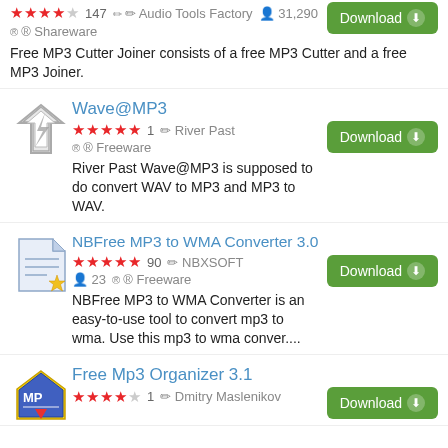Audio Tools Factory · 31,290 · Shareware · Free MP3 Cutter Joiner consists of a free MP3 Cutter and a free MP3 Joiner.
Wave@MP3 · River Past · Freeware · 1 star rating · River Past Wave@MP3 is supposed to do convert WAV to MP3 and MP3 to WAV.
NBFree MP3 to WMA Converter 3.0 · NBXSOFT · 23 · Freeware · 90 ratings · NBFree MP3 to WMA Converter is an easy-to-use tool to convert mp3 to wma. Use this mp3 to wma conver....
Free Mp3 Organizer 3.1 · Dmitry Maslenikov · 1 rating · Download